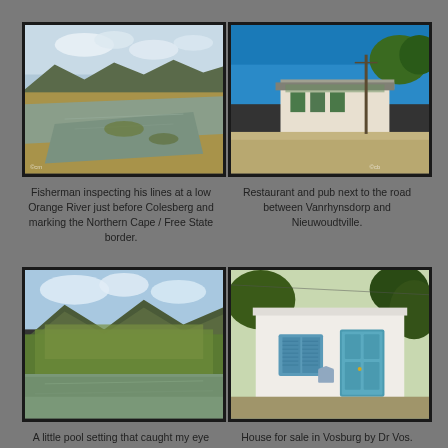[Figure (photo): River scene with low water levels, sandy banks, and cloudy sky – Orange River near Colesberg]
[Figure (photo): Restaurant and pub building with trees alongside a dirt road between Vanrhynsdorp and Nieuwoudtville]
Fisherman inspecting his lines at a low Orange River just before Colesberg and marking the Northern Cape / Free State border.
Restaurant and pub next to the road between Vanrhynsdorp and Nieuwoudtville.
[Figure (photo): Tranquil pool setting with reeds, green mountains and reflections near Ceres]
[Figure (photo): White building with blue shuttered window and blue door for sale in Vosburg by Dr Vos]
A little pool setting that caught my eye close to Ceres.
House for sale in Vosburg by Dr Vos.